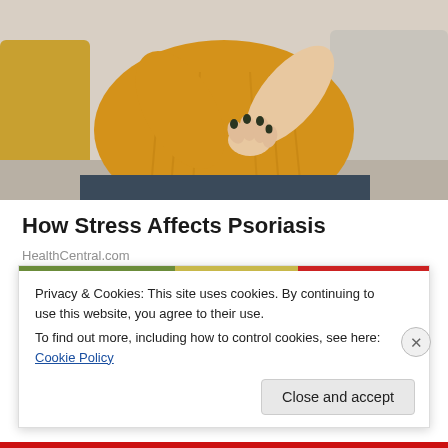[Figure (photo): Woman in a yellow knit sweater sitting on a couch, holding/scratching her arm (elbow area), with grey and yellow pillows in background]
How Stress Affects Psoriasis
HealthCentral.com
Privacy & Cookies: This site uses cookies. By continuing to use this website, you agree to their use.
To find out more, including how to control cookies, see here: Cookie Policy
Close and accept